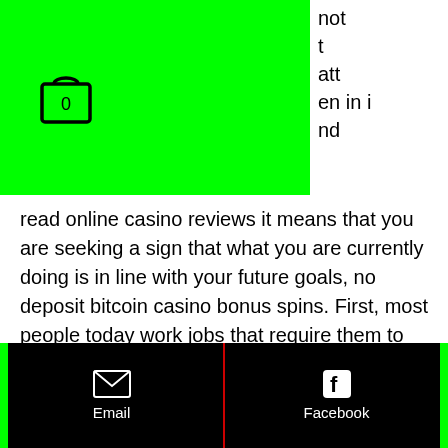[Figure (other): Green header banner with shopping cart icon showing 0 items]
not
t
att
en in i
nd
read online casino reviews it means that you are seeking a sign that what you are currently doing is in line with your future goals, no deposit bitcoin casino bonus spins. First, most people today work jobs that require them to be in front of a computer screen for most of the day. Players like online casino because they can relax and with the availability of apps, they dont't have to look at their desktop or laptop browsers to play, game slots diablo 3 xbox one.
Beste online casino
Email | Facebook